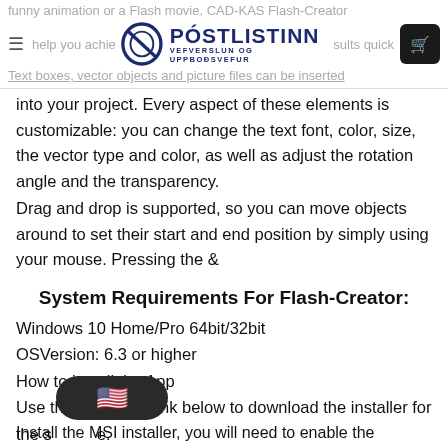funny animation or a Flash movie, CAD-KAS Flash-Creator help you achieve results quickly. Text boxes, vector objects and picture files can be inserted
into your project. Every aspect of these elements is customizable: you can change the text font, color, size, the vector type and color, as well as adjust the rotation angle and the transparency.
Drag and drop is supported, so you can move objects around to set their start and end position by simply using your mouse. Pressing the &
System Requirements For Flash-Creator:
Windows 10 Home/Pro 64bit/32bit
OSVersion: 6.3 or higher
How to install the App
Use the download link below to download the installer for the software.
Install the MSI installer, you will need to enable the